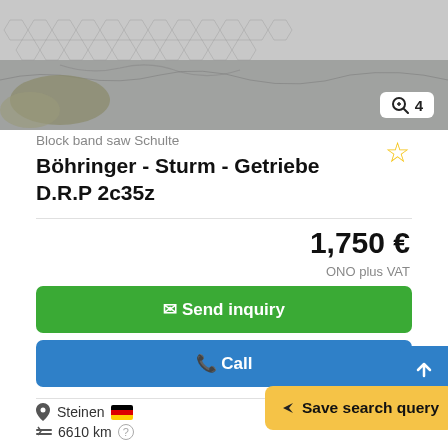[Figure (photo): Close-up photo of a Böhringer-Sturm block band saw surface texture, showing hexagonal/cracked grey material pattern. A zoom badge with magnifying glass icon and '4' is visible in the bottom-right corner of the image.]
Block band saw Schulte
Böhringer - Sturm - Getriebe D.R.P 2c35z
1,750 €
ONO plus VAT
Send inquiry
Call
Steinen
6610 km
1988
excellent (used)
Save search query